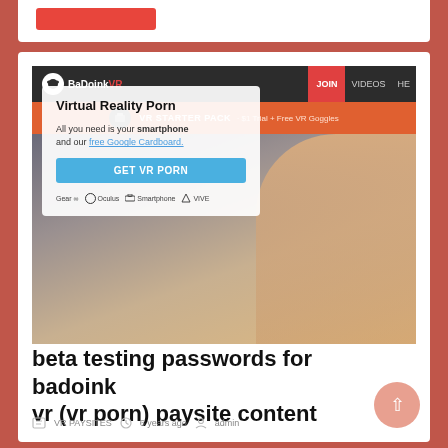[Figure (screenshot): Screenshot of BaDoinkVR website showing Virtual Reality Porn page with a blonde woman, navigation bar, orange VR Starter Pack banner, info overlay box with GET VR PORN button, and device compatibility icons (Gear, Oculus, Smartphone, VIVE)]
beta testing passwords for badoink vr (vr porn) paysite content
VR PAYSITES · 6 years ago · admin